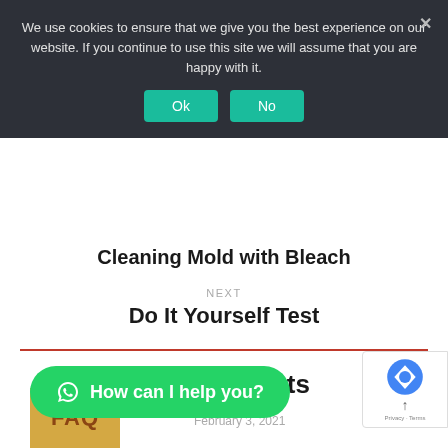We use cookies to ensure that we give you the best experience on our website. If you continue to use this site we will assume that you are happy with it.
Cleaning Mold with Bleach
NEXT
Do It Yourself Test
Related Posts
How can I help you?
February 3, 2021